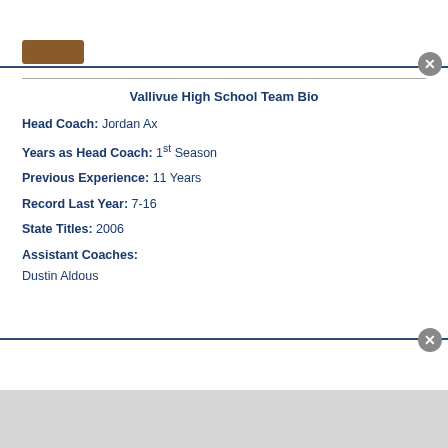Vallivue High School Team Bio
Head Coach: Jordan Ax
Years as Head Coach: 1st Season
Previous Experience: 11 Years
Record Last Year: 7-16
State Titles: 2006
Assistant Coaches:
Dustin Aldous